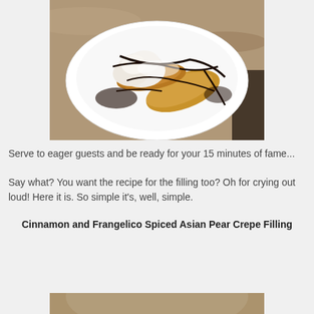[Figure (photo): A white plate with crepes drizzled with chocolate sauce and topped with whipped cream, on a granite countertop]
Serve to eager guests and be ready for your 15 minutes of fame...
Say what?  You want the recipe for the filling too?  Oh for crying out loud!  Here it is. So simple it's, well, simple.
Cinnamon and Frangelico Spiced Asian Pear Crepe Filling
[Figure (photo): Bottom portion of food photo, partially visible]